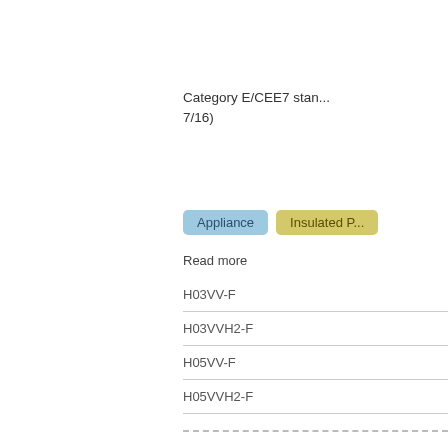Category E/CEE7 stan... 7/16)
Appliance   Insulated P...
Read more
H03VV-F
H03VVH2-F
H05VV-F
H05VVH2-F